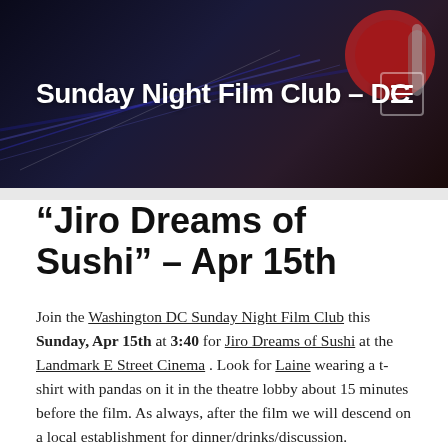Sunday Night Film Club – DC
“Jiro Dreams of Sushi” – Apr 15th
Join the Washington DC Sunday Night Film Club this Sunday, Apr 15th at 3:40 for Jiro Dreams of Sushi at the Landmark E Street Cinema . Look for Laine wearing a t-shirt with pandas on it in the theatre lobby about 15 minutes before the film. As always, after the film we will descend on a local establishment for dinner/drinks/discussion.
Jiro Dreams of Sushi is a quiet yet enthralling documentary that chronicles the life of Jiro Ono, the